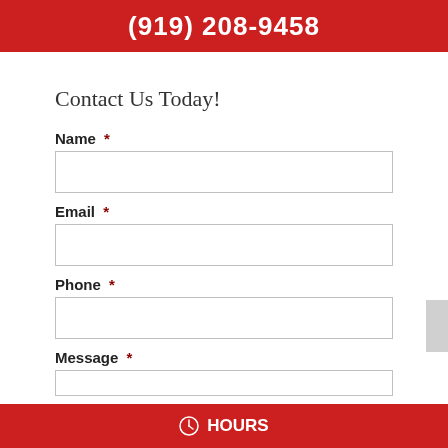(919) 208-9458
Contact Us Today!
Name *
Email *
Phone *
Message *
HOURS